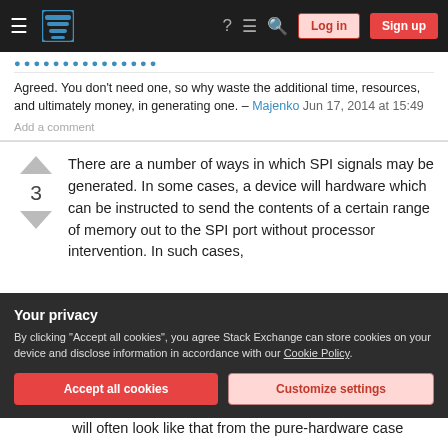Stack Exchange navigation bar with Log in and Sign up buttons
Agreed. You don't need one, so why waste the additional time, resources, and ultimately money, in generating one. – Majenko Jun 17, 2014 at 15:49
Add a comment
There are a number of ways in which SPI signals may be generated. In some cases, a device will hardware which can be instructed to send the contents of a certain range of memory out to the SPI port without processor intervention. In such cases,
Your privacy
By clicking "Accept all cookies", you agree Stack Exchange can store cookies on your device and disclose information in accordance with our Cookie Policy.
will often look like that from the pure-hardware case